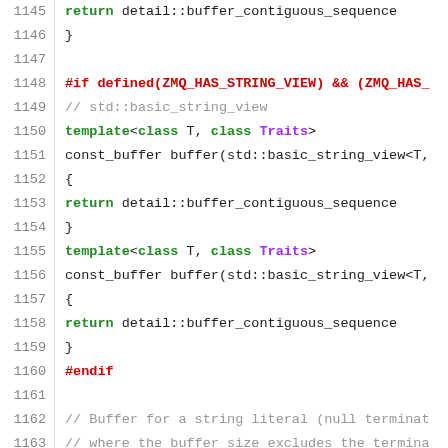[Figure (screenshot): Source code listing in C++ with syntax highlighting. Line numbers 1145-1172 shown. Code includes buffer template functions, preprocessor directives (#if, #endif, #ifdef), and comments about string literals.]